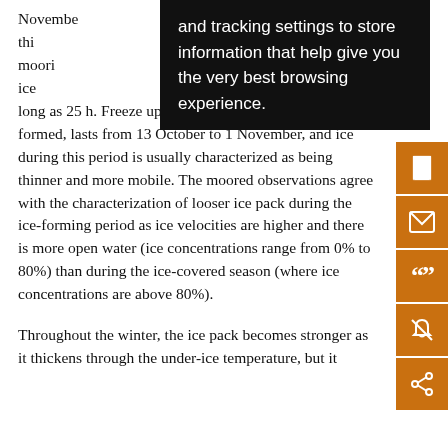November ... occur during thi... over the moori... sed SSM/I ice ... ods last 1 h, but can persist as long as 25 h. Freeze up, when the majority of ice is formed, lasts from 13 October to 1 November, and ice during this period is usually characterized as being thinner and more mobile. The moored observations agree with the characterization of looser ice pack during the ice-forming period as ice velocities are higher and there is more open water (ice concentrations range from 0% to 80%) than during the ice-covered season (where ice concentrations are above 80%).
Throughout the winter, the ice pack becomes stronger as it thickens through the under-ice temperature, but it...